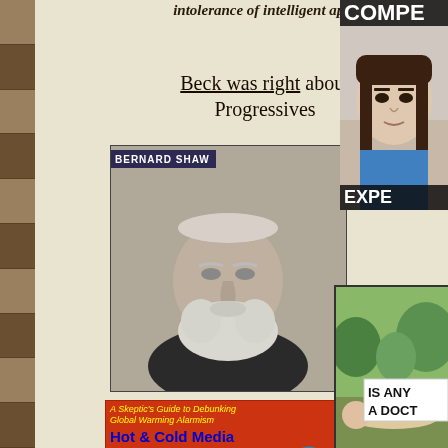[Figure (photo): Left vertical strip showing brownish animal/nature photos stacked vertically]
intolerance of intelligent apes
Beck was right about Progressives
[Figure (photo): Black and white portrait photo of Bernard Shaw, elderly man with white beard, label 'BERNARD SHAW' in top left]
[Figure (photo): Book cover: red background, 'A Skeptic's Guide to Debunking Global Warming Alarmism', Hot & Cold Media Spin Cycle: A Challenge to]
[Figure (photo): Right side top: partial image of a girl/young person, text overlay 'COMPE' at top and 'EXPE' at bottom]
[Figure (photo): Right side bottom: outdoor photo of person lying down, sign overlay reading 'IS ANY A DOCT']